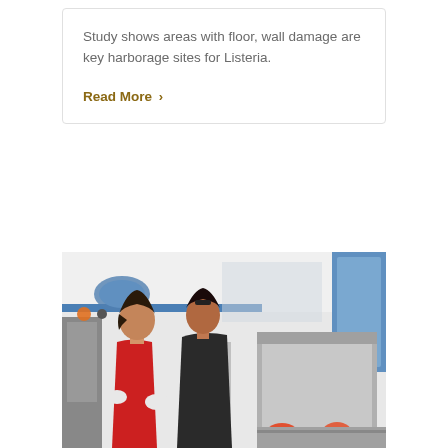Study shows areas with floor, wall damage are key harborage sites for Listeria.
Read More ›
[Figure (photo): Two workers in a food processing facility. One wearing a red top and white gloves, another in dark clothing. They are working with equipment on a production line with apples/fruit visible.]